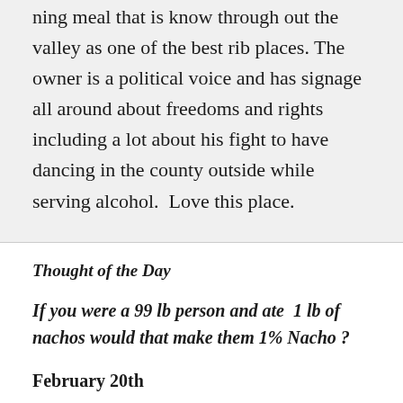ning meal that is know through out the valley as one of the best rib places. The owner is a political voice and has signage all around about freedoms and rights including a lot about his fight to have dancing in the county outside while serving alcohol.  Love this place.
Thought of the Day
If you were a 99 lb person and ate  1 lb of nachos would that make them 1% Nacho ?
February 20th
Bigger breakfast ( eating toooooo much, oh well next week) and readied up for the day. Our first stop